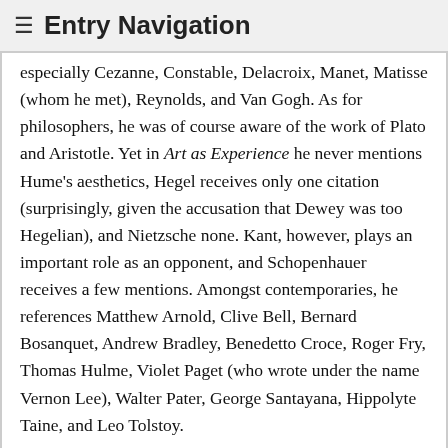≡ Entry Navigation
especially Cezanne, Constable, Delacroix, Manet, Matisse (whom he met), Reynolds, and Van Gogh. As for philosophers, he was of course aware of the work of Plato and Aristotle. Yet in Art as Experience he never mentions Hume's aesthetics, Hegel receives only one citation (surprisingly, given the accusation that Dewey was too Hegelian), and Nietzsche none. Kant, however, plays an important role as an opponent, and Schopenhauer receives a few mentions. Amongst contemporaries, he references Matthew Arnold, Clive Bell, Bernard Bosanquet, Andrew Bradley, Benedetto Croce, Roger Fry, Thomas Hulme, Violet Paget (who wrote under the name Vernon Lee), Walter Pater, George Santayana, Hippolyte Taine, and Leo Tolstoy.
Since Dewey was a pragmatist it is worthwhile to look for antecedents in that tradition (see Shusterman 2006b). A strong case can be made for many parallels with Emerson, whom many see as a proto-pragmatist. Charles S. Peirce also touched on themes more familiar in Dewey, for